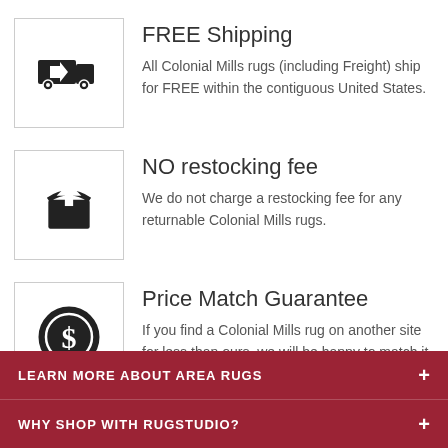FREE Shipping
All Colonial Mills rugs (including Freight) ship for FREE within the contiguous United States.
NO restocking fee
We do not charge a restocking fee for any returnable Colonial Mills rugs.
Price Match Guarantee
If you find a Colonial Mills rug on another site for less than ours, we will be happy to match it. Learn more
LEARN MORE ABOUT AREA RUGS
WHY SHOP WITH RUGSTUDIO?